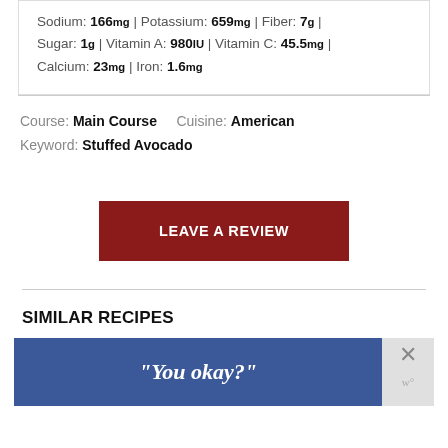Sodium: 166mg | Potassium: 659mg | Fiber: 7g | Sugar: 1g | Vitamin A: 980IU | Vitamin C: 45.5mg | Calcium: 23mg | Iron: 1.6mg
Course: Main Course   Cuisine: American   Keyword: Stuffed Avocado
[Figure (other): Dark red button labeled LEAVE A REVIEW]
SIMILAR RECIPES
[Figure (screenshot): Blue advertisement banner with text "You okay?" and a close (X) button on the right]